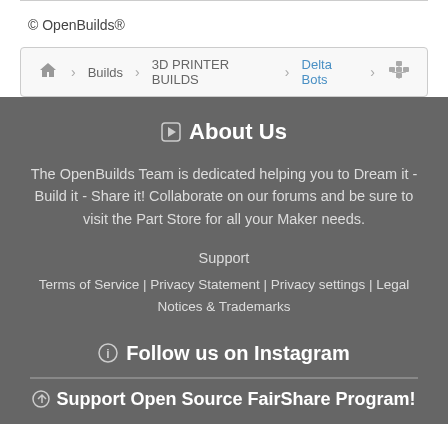© OpenBuilds®
Builds › 3D PRINTER BUILDS › Delta Bots
About Us
The OpenBuilds Team is dedicated helping you to Dream it - Build it - Share it! Collaborate on our forums and be sure to visit the Part Store for all your Maker needs.
Support
Terms of Service | Privacy Statement | Privacy settings | Legal Notices & Trademarks
Follow us on Instagram
Support Open Source FairShare Program!